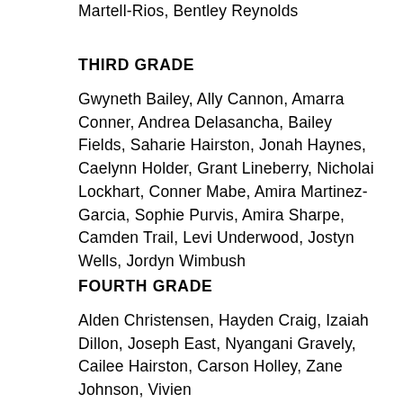Martell-Rios, Bentley Reynolds
THIRD GRADE
Gwyneth Bailey, Ally Cannon, Amarra Conner, Andrea Delasancha, Bailey Fields, Saharie Hairston, Jonah Haynes, Caelynn Holder, Grant Lineberry, Nicholai Lockhart, Conner Mabe, Amira Martinez-Garcia, Sophie Purvis, Amira Sharpe, Camden Trail, Levi Underwood, Jostyn Wells, Jordyn Wimbush
FOURTH GRADE
Alden Christensen, Hayden Craig, Izaiah Dillon, Joseph East, Nyangani Gravely, Cailee Hairston, Carson Holley, Zane Johnson, Vivien